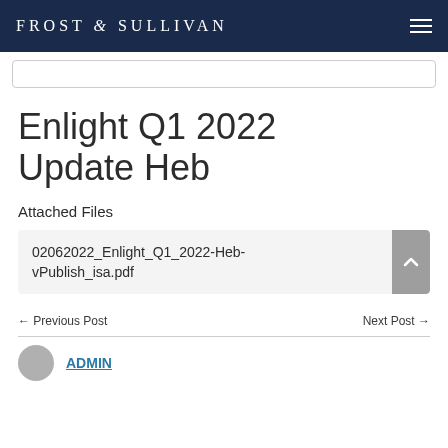FROST & SULLIVAN
Enlight Q1 2022 Update Heb
Attached Files
02062022_Enlight_Q1_2022-Heb-vPublish_isa.pdf
← Previous Post    Next Post →
ADMIN